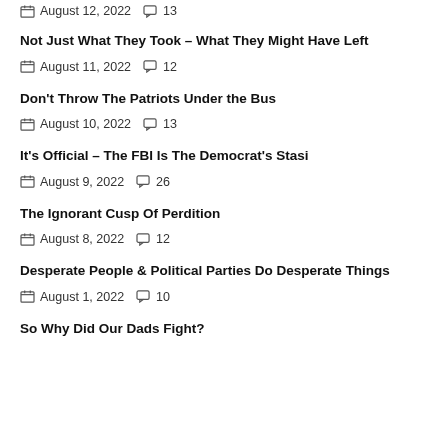August 12, 2022  13
Not Just What They Took – What They Might Have Left
August 11, 2022  12
Don't Throw The Patriots Under the Bus
August 10, 2022  13
It's Official – The FBI Is The Democrat's Stasi
August 9, 2022  26
The Ignorant Cusp Of Perdition
August 8, 2022  12
Desperate People & Political Parties Do Desperate Things
August 1, 2022  10
So Why Did Our Dads Fight?